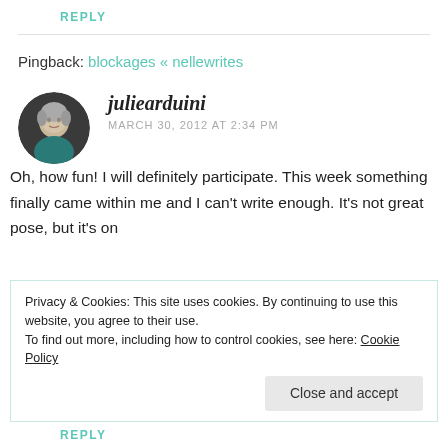REPLY
Pingback: blockages « nellewrites
[Figure (photo): Avatar photo of juliearduini — elderly woman with short gray hair, smiling, wearing a dark top]
juliearduini
MARCH 30, 2012 AT 2:34 PM
Oh, how fun! I will definitely participate. This week something finally came within me and I can't write enough. It's not great pose, but it's on
Privacy & Cookies: This site uses cookies. By continuing to use this website, you agree to their use.
To find out more, including how to control cookies, see here: Cookie Policy
Close and accept
REPLY